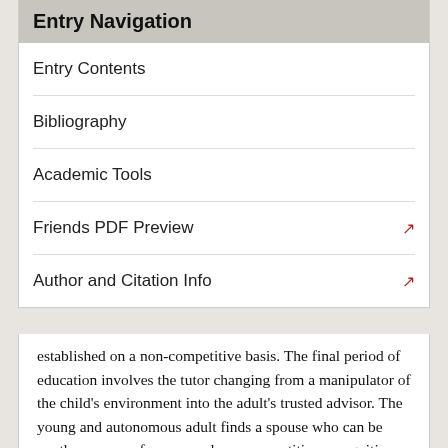Entry Navigation
Entry Contents
Bibliography
Academic Tools
Friends PDF Preview
Author and Citation Info
established on a non-competitive basis. The final period of education involves the tutor changing from a manipulator of the child's environment into the adult's trusted advisor. The young and autonomous adult finds a spouse who can be another source of secure and non-competitive recognition. This final phase also involves instruction into the nature of the social world, including the doctrines of Rousseau's political philosophy.
6. Legacy